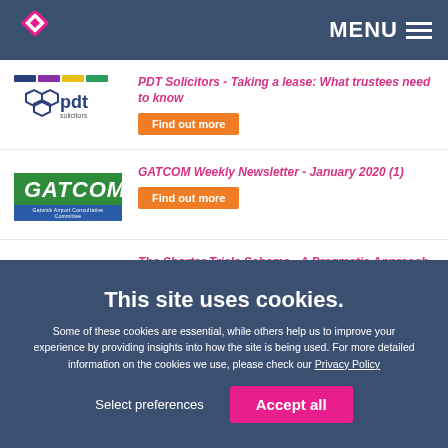MENU
PDT Solicitors - Taking a lease: What trustees need to know
Find out more
GATCOM Weekly Newsletter - January 2020 (1)
Find out more
The Shorter Trials Scheme - A Pragmatic Approach for Dealing With Procrastinating Defendants
This site uses cookies. Some of these cookies are essential, while others help us to improve your experience by providing insights into how the site is being used. For more detailed information on the cookies we use, please check our Privacy Policy
Select preferences
Accept all